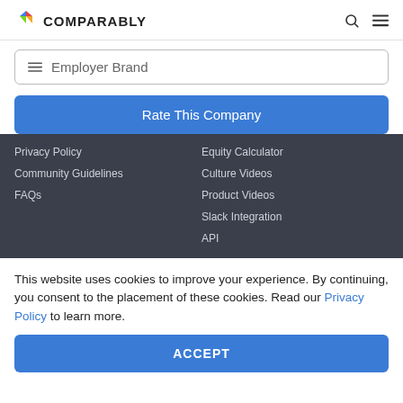COMPARABLY
Employer Brand
Rate This Company
Privacy Policy
Community Guidelines
FAQs
Equity Calculator
Culture Videos
Product Videos
Slack Integration
API
This website uses cookies to improve your experience. By continuing, you consent to the placement of these cookies. Read our Privacy Policy to learn more.
ACCEPT